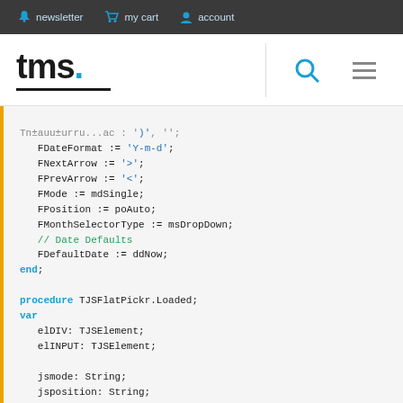newsletter   my cart   account
[Figure (logo): tms. logo with blue dot and underline, search icon, hamburger menu]
FDateFormat := 'Y-m-d';
FNextArrow := '>';
FPrevArrow := '<';
FMode := mdSingle;
FPosition := poAuto;
FMonthSelectorType := msDropDown;
// Date Defaults
FDefaultDate := ddNow;
end;

procedure TJSFlatPickr.Loaded;
var
   elDIV: TJSElement;
   elINPUT: TJSElement;

   jsmode: String;
   jsposition: String;
   jsmonthselectortype: String;

   minYear, minMonth, minDay :Word;
   maxYear, maxMonth, maxDay :Word;
   ddStartYear, ddStartMonth, ddStartDay, ddStartHour
   ddEndYear, ddEndMonth, ddEndDay, ddEndHour, ddEndM